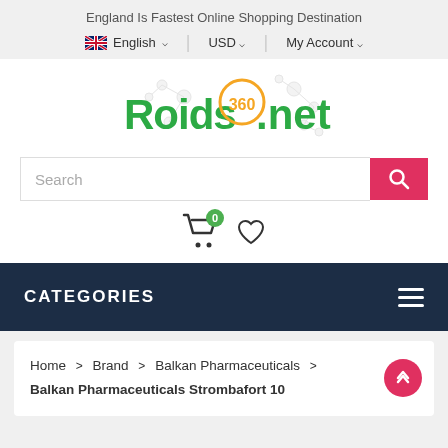England Is Fastest Online Shopping Destination
English | USD | My Account
[Figure (logo): Roids360.net logo with green bold text and orange circular 360 badge, with molecule/chemical structure graphic elements]
Search
[Figure (illustration): Shopping cart icon with green badge showing 0, and a heart/wishlist icon]
CATEGORIES
Home > Brand > Balkan Pharmaceuticals > Balkan Pharmaceuticals Strombafort 10